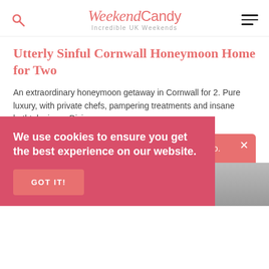WeekendCandy — Incredible UK Weekends
Utterly Sinful Cornwall Honeymoon Home for Two
An extraordinary honeymoon getaway in Cornwall for 2. Pure luxury, with private chefs, pampering treatments and insane bathtub views. Divine.
New, unique, unusual places to stay and things to do.
Get the Weekend Edit now
We use cookies to ensure you get the best experience on our website.
GOT IT!
[Figure (photo): Bottom partial image of a room interior]